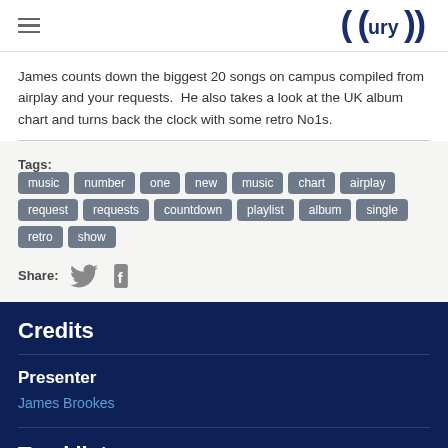URY (logo)
James counts down the biggest 20 songs on campus compiled from airplay and your requests.  He also takes a look at the UK album chart and turns back the clock with some retro No1s.
Tags: music number one new music chart airplay request requests countdown playlist album single retro show
Share: [Twitter] [Facebook]
Credits
Presenter
James Brookes
Tracklist
| Track | Artist | Time |
| --- | --- | --- |